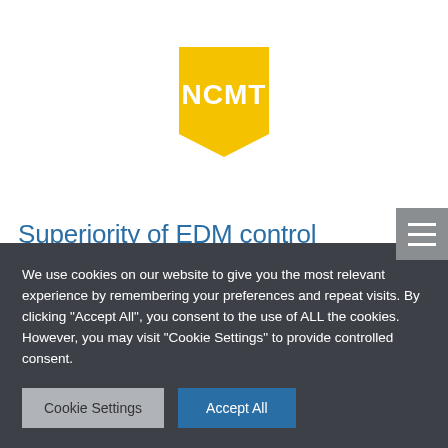[Figure (logo): NCMT logo — yellow angular shape with white 'NCMT' text]
Superiority of EDM control system convinces mouldmaker to standardise on Makino
We use cookies on our website to give you the most relevant experience by remembering your preferences and repeat visits. By clicking "Accept All", you consent to the use of ALL the cookies. However, you may visit "Cookie Settings" to provide controlled consent.